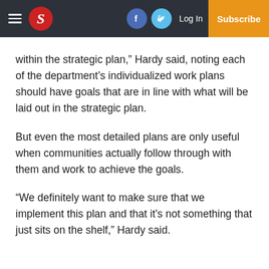Navigation bar with hamburger menu, S logo, Facebook icon, Twitter icon, Log In, Subscribe
within the strategic plan,” Hardy said, noting each of the department’s individualized work plans should have goals that are in line with what will be laid out in the strategic plan.
But even the most detailed plans are only useful when communities actually follow through with them and work to achieve the goals.
“We definitely want to make sure that we implement this plan and that it’s not something that just sits on the shelf,” Hardy said.